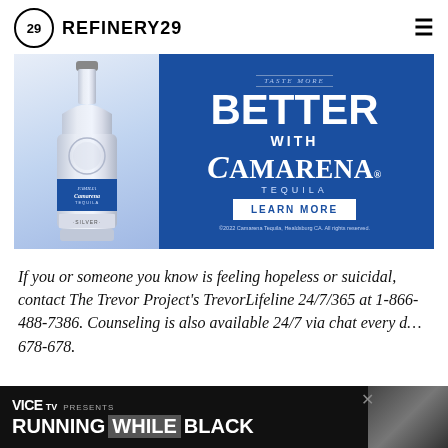REFINERY29
[Figure (photo): Camarena Tequila advertisement on blue background featuring a silver tequila bottle on the left and text: BETTER WITH CAMARENA TEQUILA with a LEARN MORE button. Copyright 2022 Camarena Tequila, Healdsburg CA. All rights reserved.]
If you or someone you know is feeling hopeless or suicidal, contact The Trevor Project's TrevorLifeline 24/7/365 at 1-866-488-7386. Counseling is also available 24/7 via chat every d... 678-678.
[Figure (screenshot): VICE TV Presents: RUNNING WHILE BLACK advertisement banner at bottom with a portrait of a person on the right side. Close X button on right.]